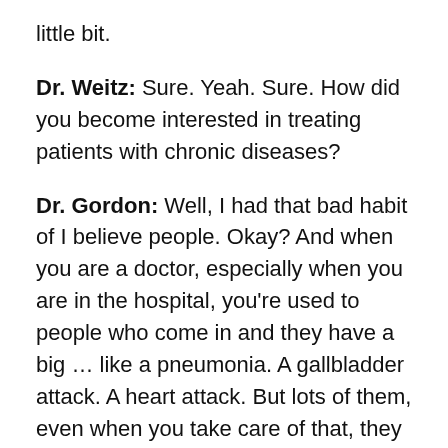little bit.
Dr. Weitz: Sure. Yeah. Sure. How did you become interested in treating patients with chronic diseases?
Dr. Gordon: Well, I had that bad habit of I believe people. Okay? And when you are a doctor, especially when you are in the hospital, you're used to people who come in and they have a big … like a pneumonia. A gallbladder attack. A heart attack. But lots of them, even when you take care of that, they still feel terribly, and they felt terribly in ways that didn't make sense to me. Because they didn't make sense to medicine. They're